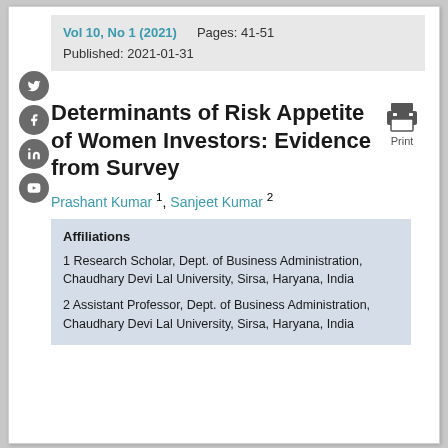Vol 10, No 1 (2021)    Pages: 41-51
Published: 2021-01-31
Determinants of Risk Appetite of Women Investors: Evidence from Survey
Prashant Kumar 1, Sanjeet Kumar 2
Affiliations
1 Research Scholar, Dept. of Business Administration, Chaudhary Devi Lal University, Sirsa, Haryana, India
2 Assistant Professor, Dept. of Business Administration, Chaudhary Devi Lal University, Sirsa, Haryana, India